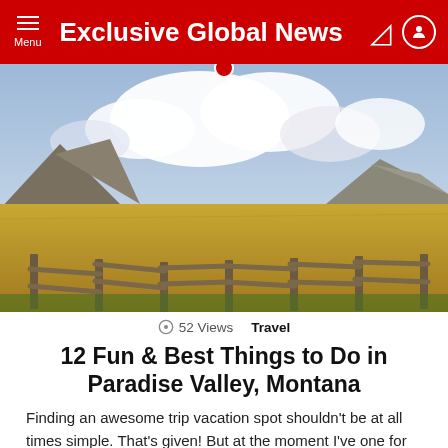Exclusive Global News
[Figure (photo): Scenic landscape photo of Paradise Valley, Montana: golden grassy plains with a wooden ranch fence in the foreground, mountains in the background, dramatic cloudy sky above]
52 Views   Travel
12 Fun & Best Things to Do in Paradise Valley, Montana
Finding an awesome trip vacation spot shouldn't be at all times simple. That's given! But at the moment I've one for you. Check out